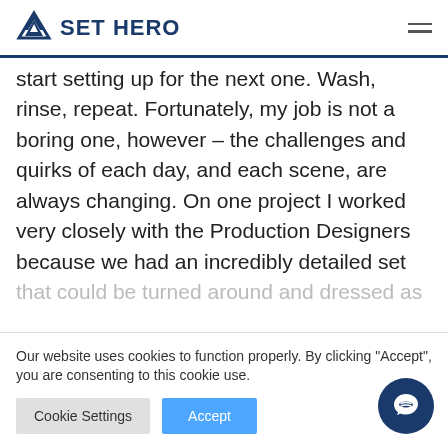SET HERO
start setting up for the next one. Wash, rinse, repeat. Fortunately, my job is not a boring one, however – the challenges and quirks of each day, and each scene, are always changing. On one project I worked very closely with the Production Designers because we had an incredibly detailed set that could be turned around and dressed as
Our website uses cookies to function properly. By clicking "Accept", you are consenting to this cookie use.